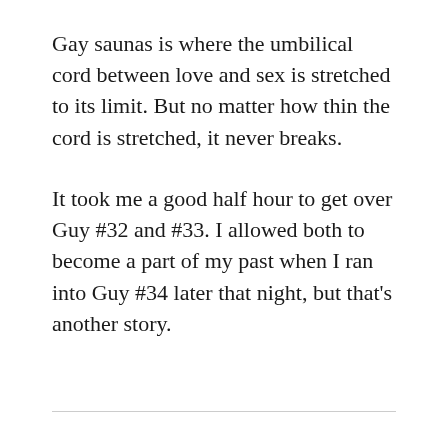Gay saunas is where the umbilical cord between love and sex is stretched to its limit. But no matter how thin the cord is stretched, it never breaks.
It took me a good half hour to get over Guy #32 and #33. I allowed both to become a part of my past when I ran into Guy #34 later that night, but that’s another story.